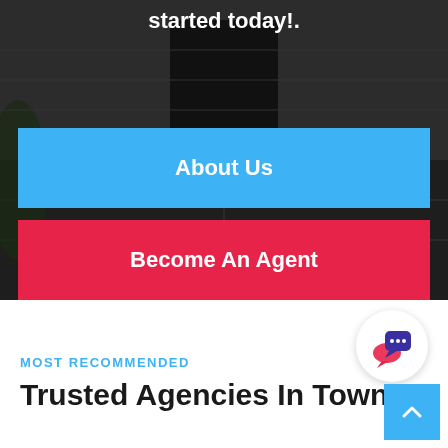started today!.
About Us
Become An Agent
[Figure (illustration): Chat bubble icon with ellipsis (speech bubbles in purple/red, white circular background)]
MOST RECOMMENDED
Trusted Agencies In Town